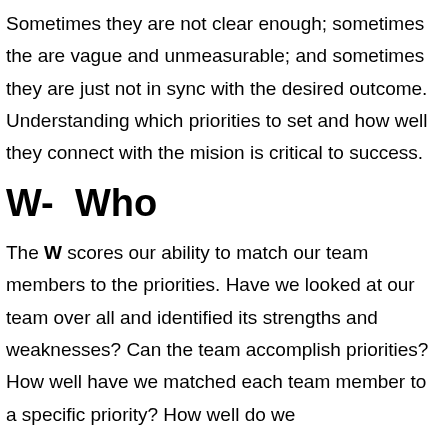Sometimes they are not clear enough; sometimes the are vague and unmeasurable; and sometimes they are just not in sync with the desired outcome. Understanding which priorities to set and how well they connect with the mision is critical to success.
W-  Who
The W scores our ability to match our team members to the priorities. Have we looked at our team over all and identified its strengths and weaknesses? Can the team accomplish priorities? How well have we matched each team member to a specific priority? How well do we